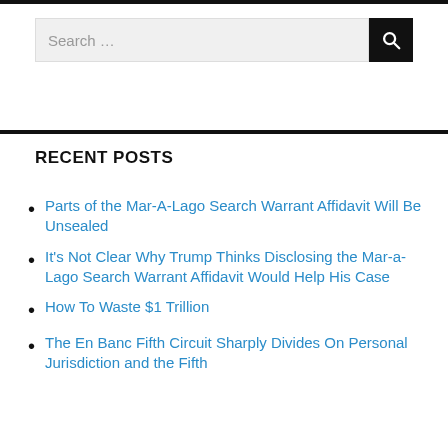[Figure (other): Search bar with text 'Search ...' and a black search button with magnifying glass icon]
RECENT POSTS
Parts of the Mar-A-Lago Search Warrant Affidavit Will Be Unsealed
It's Not Clear Why Trump Thinks Disclosing the Mar-a-Lago Search Warrant Affidavit Would Help His Case
How To Waste $1 Trillion
The En Banc Fifth Circuit Sharply Divides On Personal Jurisdiction and the Fifth